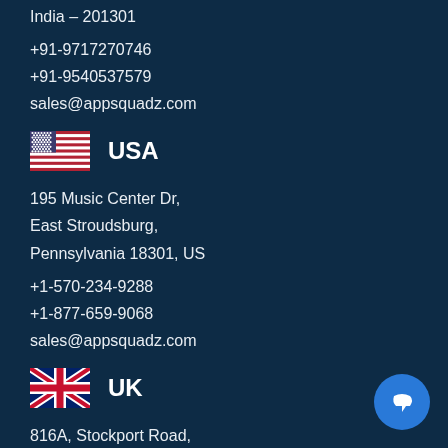India - 201301
+91-9717270746
+91-9540537579
sales@appsquadz.com
USA
195 Music Center Dr,
East Stroudsburg,
Pennsylvania 18301, US
+1-570-234-9288
+1-877-659-9068
sales@appsquadz.com
UK
816A, Stockport Road,
Manchester
M19 3BS
United Kingdom
+44-203-807-3810